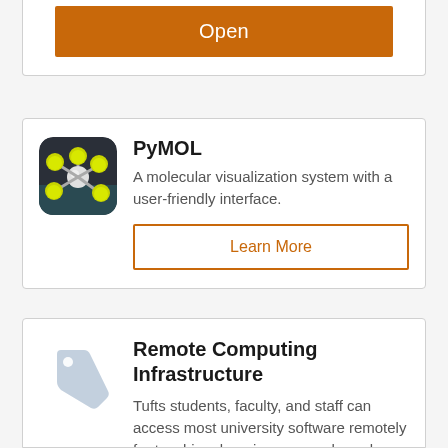[Figure (screenshot): Orange 'Open' button at top of card]
[Figure (screenshot): PyMOL app card with molecular visualization icon, title 'PyMOL', description text, and orange 'Learn More' button]
PyMOL
A molecular visualization system with a user-friendly interface.
[Figure (screenshot): Remote Computing Infrastructure card with tag icon, title, and description text]
Remote Computing Infrastructure
Tufts students, faculty, and staff can access most university software remotely for teaching, learning, research, and general-